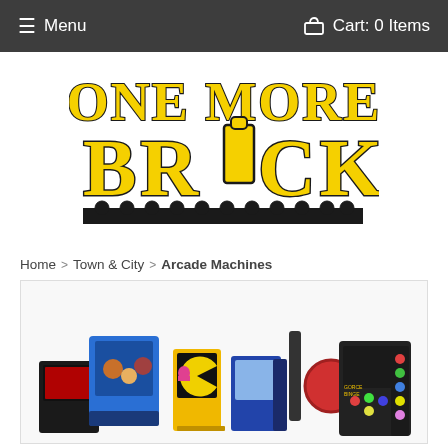≡ Menu   🛒 Cart: 0 Items
[Figure (logo): One More Brick logo — yellow serif block letters with black outline on white background, with a row of LEGO studs along the bottom]
Home > Town & City > Arcade Machines
[Figure (photo): LEGO arcade machines product photo — multiple small LEGO arcade cabinet models including Pac-Man, a claw machine, a fighting game cabinet, a pinball-style machine, and others, arranged on a white background]